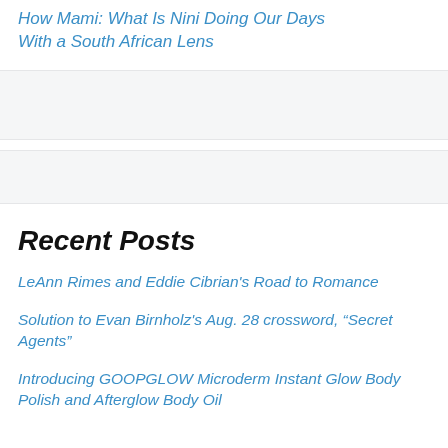How Mami: What Is Nini Doing Our Days With a South African Lens
Recent Posts
LeAnn Rimes and Eddie Cibrian's Road to Romance
Solution to Evan Birnholz's Aug. 28 crossword, “Secret Agents”
Introducing GOOPGLOW Microderm Instant Glow Body Polish and Afterglow Body Oil